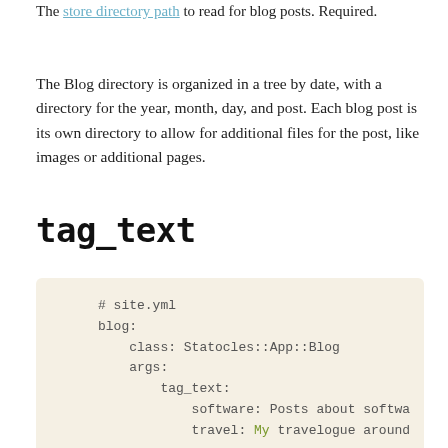The store directory path to read for blog posts. Required.
The Blog directory is organized in a tree by date, with a directory for the year, month, day, and post. Each blog post is its own directory to allow for additional files for the post, like images or additional pages.
tag_text
# site.yml
blog:
    class: Statocles::App::Blog
    args:
        tag_text:
            software: Posts about softwa
            travel: My travelogue around